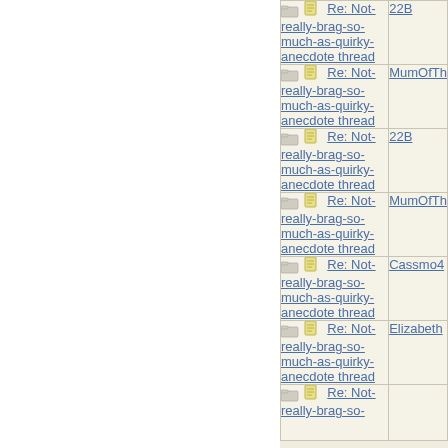| Subject | Author |
| --- | --- |
| Re: Not-really-brag-so-much-as-quirky-anecdote thread | 22B |
| Re: Not-really-brag-so-much-as-quirky-anecdote thread | MumOfTh |
| Re: Not-really-brag-so-much-as-quirky-anecdote thread | 22B |
| Re: Not-really-brag-so-much-as-quirky-anecdote thread | MumOfTh |
| Re: Not-really-brag-so-much-as-quirky-anecdote thread | Cassmo4 |
| Re: Not-really-brag-so-much-as-quirky-anecdote thread | Elizabeth |
| Re: Not-really-brag-so-much-as-quirky-anecdote thread |  |